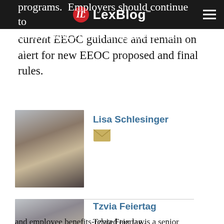LexBlog
programs. Employers should continue to review their current programs in light of current EEOC guidance and remain on alert for new EEOC proposed and final rules.
Lisa Schlesinger
[Figure (photo): Headshot photo of Lisa Schlesinger]
Tzvia Feiertag
[Figure (photo): Headshot photo of Tzvia Feiertag]
Tzvia Feiertag is a senior associate in the Labor & Employment Law Department. She practices exclusively in the areas of ERISA and employee benefits-related tax law.